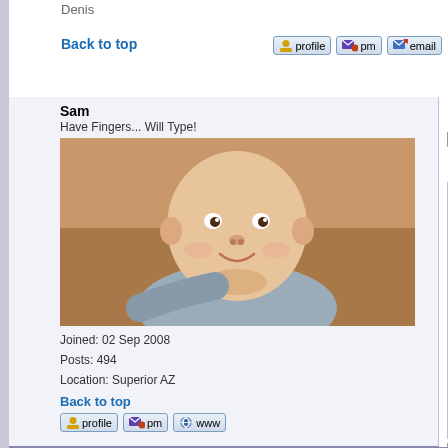Denis
Back to top
[Figure (screenshot): Profile, PM, and Email icon buttons]
Sam
Have Fingers... Will Type!
[Figure (photo): Baby photo of a bald infant smiling, in a blue/grey shirt]
Joined: 02 Sep 2008
Posts: 494
Location: Superior AZ
Back to top
[Figure (screenshot): Profile, PM, and WWW icon buttons]
Posted: Fri Dec 02, 2016 6:52 pm    Post subject:
denis rigg wrote:
I like this episode, though not in the sta... detective line. This is one of the favorite... screen. She watched before the end of...
Has she seen the original versions?
denis rigg
A Touch of Brimstone
Joined: 06 Sep 2008
Posts: 2590
Posted: Fri Dec 09, 2016 11:49 pm    Post subject:
Quote:
Has she seen the original versions?
Sadly, in Russia very few people who have w...